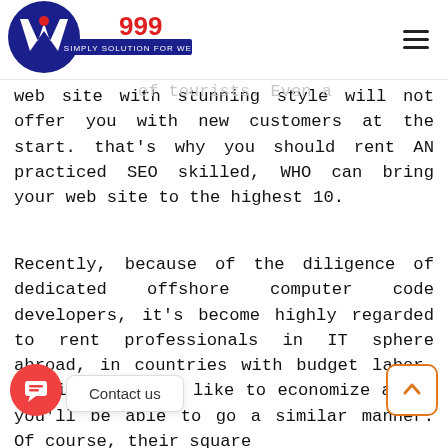[Figure (logo): Web999 logo — blue circular W icon with red '999' text and tagline 'SIMPLY SOLUTION FOR WEB']
nd of your web site. It's necessary to promote a web site to of tourists. Even a web site with stunning style will not offer you with new customers at the start. that's why you should rent AN practiced SEO skilled, WHO can bring your web site to the highest 10.
Recently, because of the diligence of dedicated offshore computer code developers, it's become highly regarded to rent professionals in IT sphere abroad, in countries with budget labor. So, if you would like to economize a but you'll be able to go a similar manner. Of course, their square